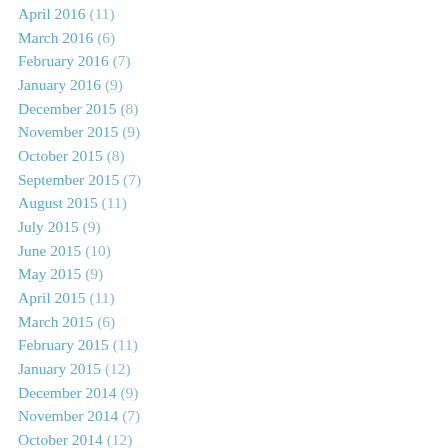April 2016 (11)
March 2016 (6)
February 2016 (7)
January 2016 (9)
December 2015 (8)
November 2015 (9)
October 2015 (8)
September 2015 (7)
August 2015 (11)
July 2015 (9)
June 2015 (10)
May 2015 (9)
April 2015 (11)
March 2015 (6)
February 2015 (11)
January 2015 (12)
December 2014 (9)
November 2014 (7)
October 2014 (12)
September 2014 (7)